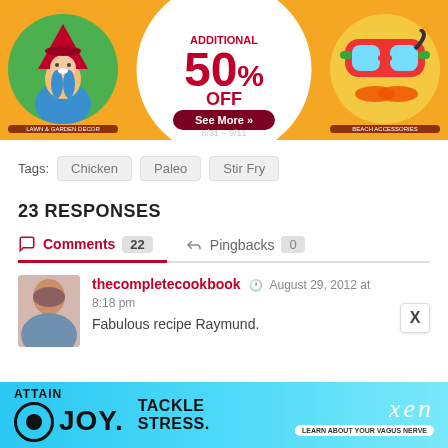[Figure (photo): Advertisement banner: Additional 50% Off Spring-Summer Decor* with gnome/garden and beach accessories imagery. See More button and date 8/31-9/11.]
Tags: Chicken Paleo Stir Fry
23 RESPONSES
Comments 22   Pingbacks 0
thecompletecookbook  August 29, 2012 at 8:18 pm
Fabulous recipe Raymund.
[Figure (photo): Advertisement banner: Attain JOY. Tackle Stress. Xen - Learn about your vagus nerve.]